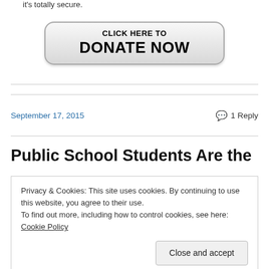it's totally secure.
[Figure (other): Donate button: CLICK HERE TO DONATE NOW with rounded rectangle styling]
September 17, 2015
1 Reply
Public School Students Are the
Privacy & Cookies: This site uses cookies. By continuing to use this website, you agree to their use. To find out more, including how to control cookies, see here: Cookie Policy
Close and accept